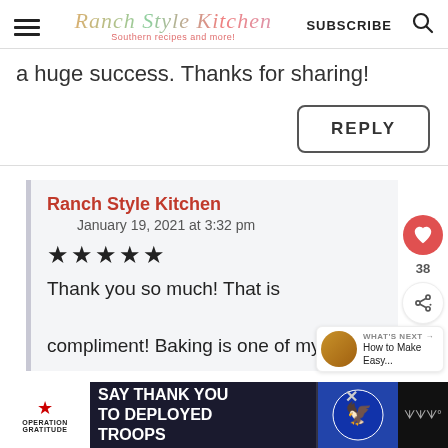Ranch Style Kitchen — Southern recipes and more! | SUBSCRIBE
a huge success. Thanks for sharing!
REPLY
Ranch Style Kitchen
January 19, 2021 at 3:32 pm
★★★★★
Thank you so much! That is    compliment! Baking is one of my